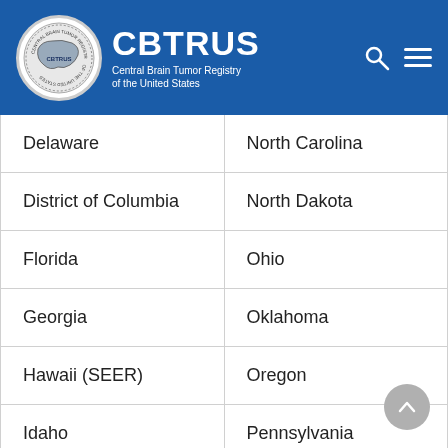CBTRUS – Central Brain Tumor Registry of the United States
| State (Left) | State (Right) |
| --- | --- |
| Delaware | North Carolina |
| District of Columbia | North Dakota |
| Florida | Ohio |
| Georgia | Oklahoma |
| Hawaii (SEER) | Oregon |
| Idaho | Pennsylvania |
| Illinois | Rhode Island |
| Indiana | South Carolina |